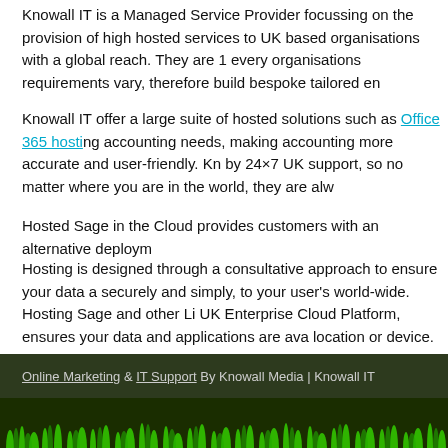Knowall IT is a Managed Service Provider focussing on the provision of high hosted services to UK based organisations with a global reach. They are 1 every organisations requirements vary, therefore build bespoke tailored en
Knowall IT offer a large suite of hosted solutions such as Office 365 hosting accounting needs, making accounting more accurate and user-friendly. Kn by 24×7 UK support, so no matter where you are in the world, they are alw
Hosted Sage in the Cloud provides customers with an alternative deploym
Hosting is designed through a consultative approach to ensure your data a securely and simply, to your user's world-wide. Hosting Sage and other Li UK Enterprise Cloud Platform, ensures your data and applications are ava location or device.
Knowall IT has been hosting Sage 50, 200, Payroll & ACT since 2005 on i businesses to access Sage products from home, offices or abroad, on PCs
Online Marketing & IT Support By Knowall Media | Knowall IT